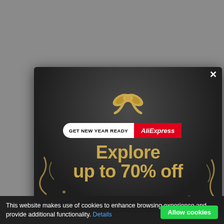[Figure (screenshot): AliExpress popup advertisement on a grey webpage background. Popup shows a gift bow graphic, a badge reading 'GET NEW YEAR READY AliExpress', and text 'Explore up to 70% off' in gold on dark background. A close X button is in top-right corner of popup.]
This website makes use of cookies to enhance browsing experience and provide additional functionality. Details  Allow cookies